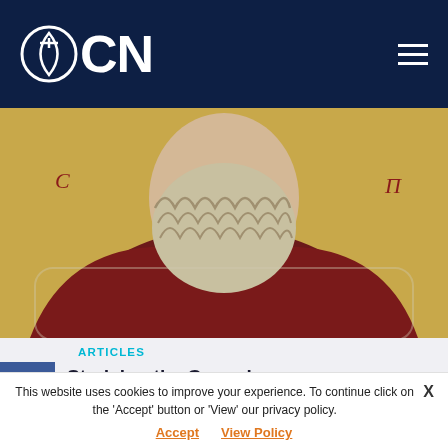OCN
[Figure (photo): Orthodox Christian icon painting showing a saint with white/grey beard, wearing green and maroon vestments with gold cross embroidery, against gold background]
ARTICLES
Studying the Gospel
Saint Ignatij Brianchaninoff  When you study the Gospel, don't look for pleasure, don't look for excitement, don't look for brilliant thoughts. Seek to find the infallible holy truth. Don't be satisfied with studying the Read more...
This website uses cookies to improve your experience. To continue click on the 'Accept' button or 'View' our privacy policy. Accept  View Policy